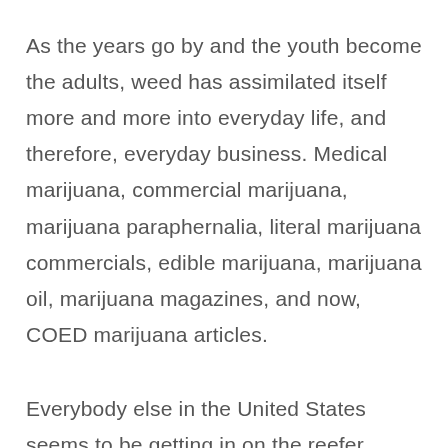As the years go by and the youth become the adults, weed has assimilated itself more and more into everyday life, and therefore, everyday business. Medical marijuana, commercial marijuana, marijuana paraphernalia, literal marijuana commercials, edible marijuana, marijuana oil, marijuana magazines, and now, COED marijuana articles.
Everybody else in the United States seems to be getting in on the reefer madness, so we've decided to do the same by introducing a new